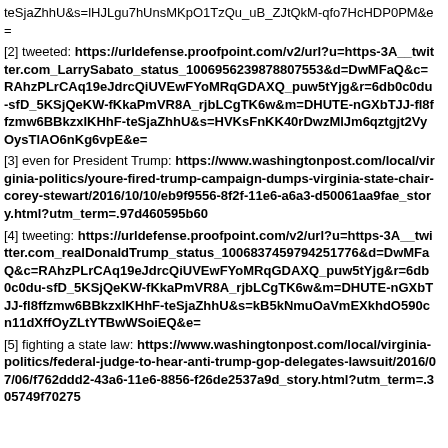teSjaZhhU&s=lHJLgu7hUnsMKpO1TzQu_uB_ZJtQkM-qfo7HcHDP0PM&e=
[2] tweeted: https://urldefense.proofpoint.com/v2/url?u=https-3A__twitter.com_LarrySabato_status_100695623987880755 3&d=DwMFaQ&c=RAhzPLrCAq19eJdrcQiUVEwFYoMRqGDAXQ_puw5tYjg&r=6db0c0du-sfD_5KSjQeKW-fKkaPmVR8A_rjbLCgTK6w&m=DHUTE-nGXbTJJ-fl8ffzmw6BBkzxIKHhF-teSjaZhhU&s=HVKsFnKK40rDwzMlJm6qztgjt2VyOysTlAO6nKg6vpE&e=
[3] even for President Trump: https://www.washingtonpost.com/local/virginia-politics/youre-fired-trump-campaign-dumps-virginia-state-chair-corey-stewart/2016/10/10/eb9f9556-8f2f-11e6-a6a3-d50061aa9fae_story.html?utm_term=.97d460595b60
[4] tweeting: https://urldefense.proofpoint.com/v2/url?u=https-3A__twitter.com_realDonaldTrump_status_1006837459794251776&d=DwMFaQ&c=RAhzPLrCAq19eJdrcQiUVEwFYoMRqGDAXQ_puw5tYjg&r=6db0c0du-sfD_5KSjQeKW-fKkaPmVR8A_rjbLCgTK6w&m=DHUTE-nGXbTJJ-fl8ffzmw6BBkzxIKHhF-teSjaZhhU&s=kB5kNmuOaVmEXkhdO590cn11dXffOyZLtYTBwWSoiEQ&e=
[5] fighting a state law: https://www.washingtonpost.com/local/virginia-politics/federal-judge-to-hear-anti-trump-gop-delegates-lawsuit/2016/07/06/f762ddd2-43a6-11e6-8856-f26de2537a9d_story.html?utm_term=.305749f70275